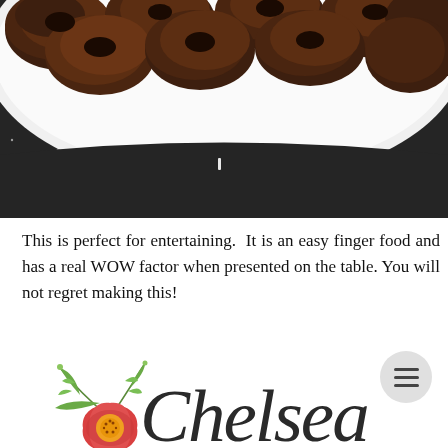[Figure (photo): Close-up photo of cooked meat pieces (possibly kebab or meatballs) on a white plate, placed on a dark granite/sparkly surface]
This is perfect for entertaining.  It is an easy finger food and has a real WOW factor when presented on the table.  You will not regret making this!
[Figure (logo): Chelsea blog logo with a watercolor red poppy flower with green leaves and cursive Chelsea text]